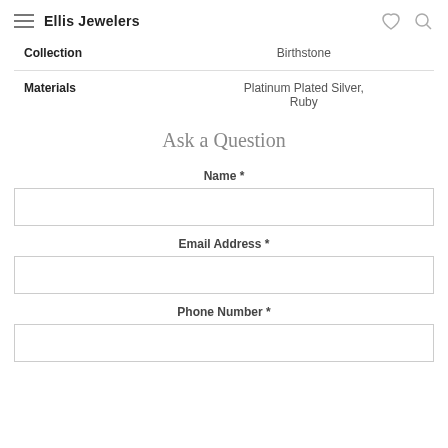Ellis Jewelers
|  |  |
| --- | --- |
| Collection | Birthstone |
| Materials | Platinum Plated Silver, Ruby |
Ask a Question
Name *
Email Address *
Phone Number *